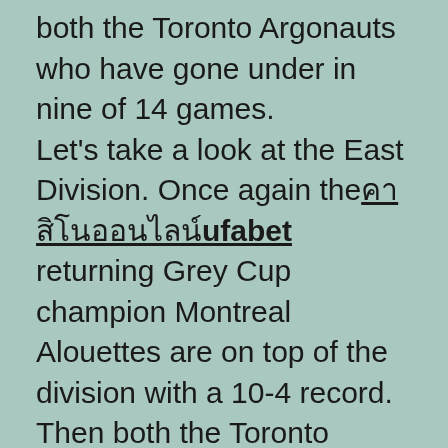both the Toronto Argonauts who have gone under in nine of 14 games. Let's take a look at the East Division. Once again the[Thai chars]ufabet returning Grey Cup champion Montreal Alouettes are on top of the division with a 10-4 record. Then both the Toronto Argonauts and Hamilton Tiger-Cats are locked up with 7-7 records. The Argos are likely going to the playoffs for the first time since 2007. Holding down the bottom of the East are the Winnipeg Blue Bombers. Last year the West Division sent all four teams to the playoffs. This year probably that is not going to happen. The West has two clear top